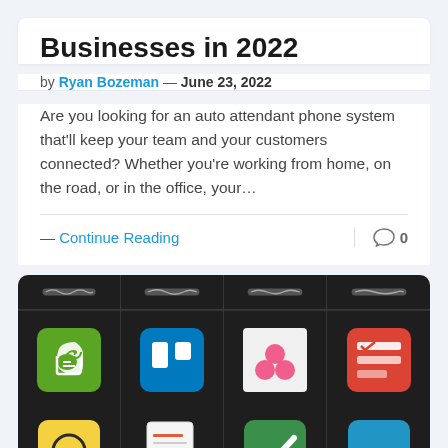Businesses in 2022
by Ryan Bozeman — June 23, 2022
Are you looking for an auto attendant phone system that'll keep your team and your customers connected? Whether you're working from home, on the road, or in the office, your…
— Continue Reading
0
[Figure (screenshot): Dark grid showing app icons including Evernote, Trello, DaVinci Resolve, Todoist, Basecamp, a check-mark app, Cage, and a note app arranged in a 4-column grid with squiggle rating indicators at top]